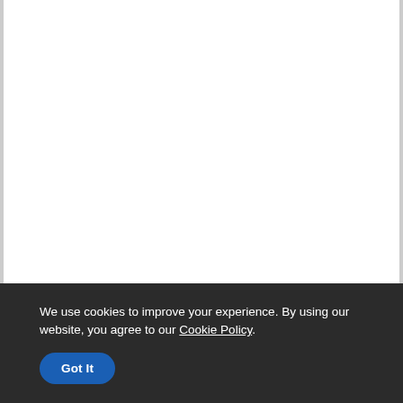We use cookies to improve your experience. By using our website, you agree to our Cookie Policy.
Got It